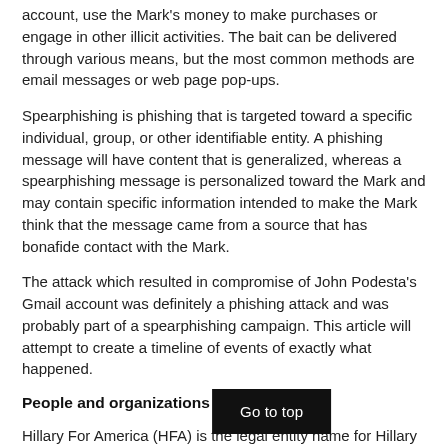account, use the Mark's money to make purchases or engage in other illicit activities. The bait can be delivered through various means, but the most common methods are email messages or web page pop-ups.
Spearphishing is phishing that is targeted toward a specific individual, group, or other identifiable entity. A phishing message will have content that is generalized, whereas a spearphishing message is personalized toward the Mark and may contain specific information intended to make the Mark think that the message came from a source that has bonafide contact with the Mark.
The attack which resulted in compromise of John Podesta's Gmail account was definitely a phishing attack and was probably part of a spearphishing campaign. This article will attempt to create a timeline of events of exactly what happened.
People and organizations involved
Hillary For America (HFA) is the legal entity name for Hillary Clinton's Presidential Campaign.
John Podesta: Chairman of HFA
Sara Latham: Chief of Staff to John... HFA